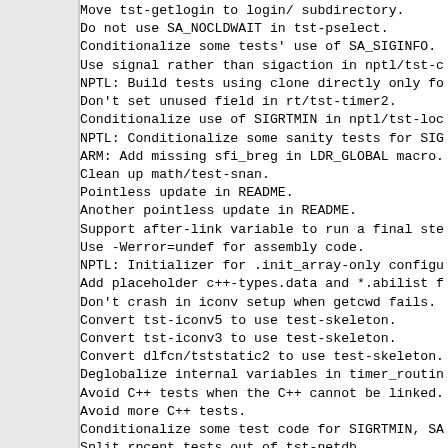Move tst-getlogin to login/ subdirectory.
Do not use SA_NOCLDWAIT in tst-pselect.
Conditionalize some tests' use of SA_SIGINFO.
Use signal rather than sigaction in nptl/tst-c
NPTL: Build tests using clone directly only fo
Don't set unused field in rt/tst-timer2.
Conditionalize use of SIGRTMIN in nptl/tst-loc
NPTL: Conditionalize some sanity tests for SIG
ARM: Add missing sfi_breg in LDR_GLOBAL macro.
Clean up math/test-snan.
Pointless update in README.
Another pointless update in README.
Support after-link variable to run a final ste
Use -Werror=undef for assembly code.
NPTL: Initializer for .init_array-only configu
Add placeholder c++-types.data and *.abilist f
Don't crash in iconv setup when getcwd fails.
Convert tst-iconv5 to use test-skeleton.
Convert tst-iconv3 to use test-skeleton.
Convert dlfcn/tststatic2 to use test-skeleton.
Deglobalize internal variables in timer_routin
Avoid C++ tests when the C++ cannot be linked.
Avoid more C++ tests.
Conditionalize some test code for SIGRTMIN, SA
Split rpcent tests out of tst-netdb.
Define ETH_ALEN in generic <netinet/if_ether.h
Avoid re-exec-self in bug-setlocale1.
ChangeLog format
Document test-wrapper-env-only in INSTALL.
Harmonize posix/regcomp.c with gnulib: comment
...